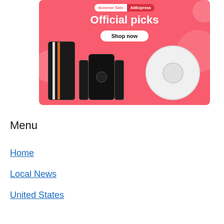[Figure (illustration): AliExpress Summer Sale advertisement banner with pink background showing 'Official picks' heading, 'Shop now' button, and product images including a robot vacuum, smartphone, and gaming controller]
Menu
Home
Local News
United States